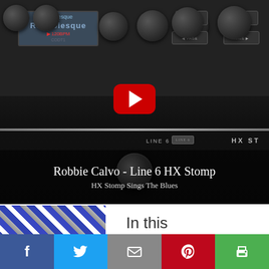[Figure (screenshot): YouTube video thumbnail showing a Line 6 HX Stomp guitar effects pedal (black multi-knob device with display screen). A red YouTube play button is centered over the image. The video title overlay reads 'Robbie Calvo - Line 6 HX Stomp' and subtitle 'HX Stomp Sings The Blues'.]
[Figure (photo): Partial thumbnail of another video showing a blue and white pattern (possibly a jersey or fabric).]
In this
[Figure (infographic): Social sharing bar with 5 buttons: Facebook (blue), Twitter (light blue), Email (grey), Pinterest (red), Print (green) with respective icons.]